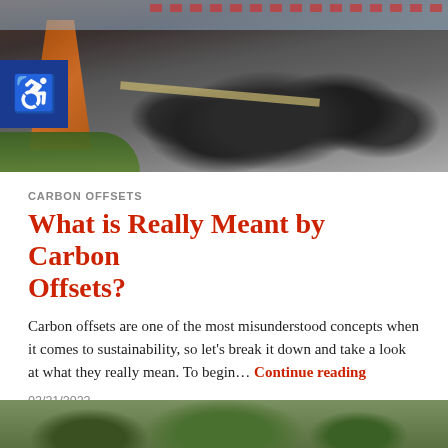[Figure (photo): Aerial view of coal piles and industrial conveyor structures at a mining or energy facility, with green vegetation at the lower left and dirt tracks visible. A blue accessibility icon box is overlaid at the top left.]
CARBON OFFSETS
What is Really Meant by Carbon Offsets?
Carbon offsets are one of the most misunderstood concepts when it comes to sustainability, so let's break it down and take a look at what they really mean. To begin… Continue reading
02/21/2022
[Figure (photo): Partial view of a nature/forest scene, visible at the bottom of the page, showing green treetops.]